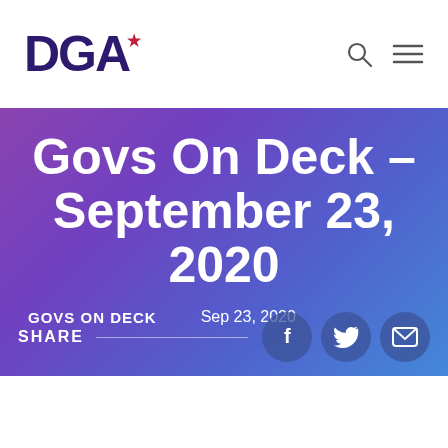DGA
Govs On Deck – September 23, 2020
GOVS ON DECK   Sep 23, 2020
SHARE